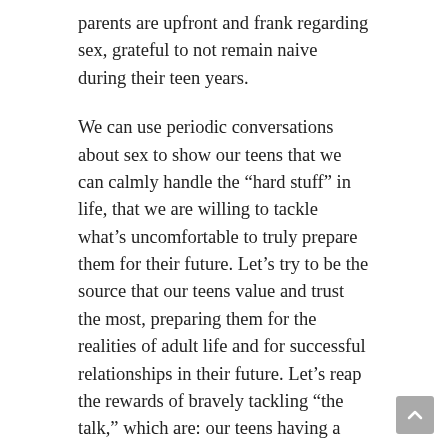parents are upfront and frank regarding sex, grateful to not remain naive during their teen years.
We can use periodic conversations about sex to show our teens that we can calmly handle the “hard stuff” in life, that we are willing to tackle what’s uncomfortable to truly prepare them for their future. Let’s try to be the source that our teens value and trust the most, preparing them for the realities of adult life and for successful relationships in their future. Let’s reap the rewards of bravely tackling “the talk,” which are: our teens having a medically-accurate and age-appropriate understanding of health/sex as well as a closer relationship with us.
As always, we at PATH are here to support and reinforce your great mentoring! That is why we provide lots of quality resources for your teens, like our PATH FACTS segment on social media, presenting medically-accurate